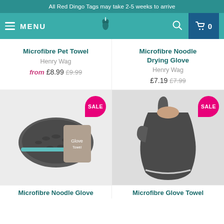All Red Dingo Tags may take 2-5 weeks to arrive
[Figure (screenshot): Navigation bar with hamburger menu, MENU text, site logo (dog silhouette), search icon, and cart icon with 0]
Microfibre Pet Towel
Henry Wag
from £8.99 £9.99
Microfibre Noodle Drying Glove
Henry Wag
£7.19 £7.99
[Figure (photo): Product photo of Microfibre Noodle Glove Towel in dark grey with packaging, with a pink SALE badge]
[Figure (photo): Product photo of Microfibre Noodle Drying Glove in dark charcoal being worn on a hand, with a pink SALE badge]
Microfibre Noodle Glove
Microfibre Glove Towel